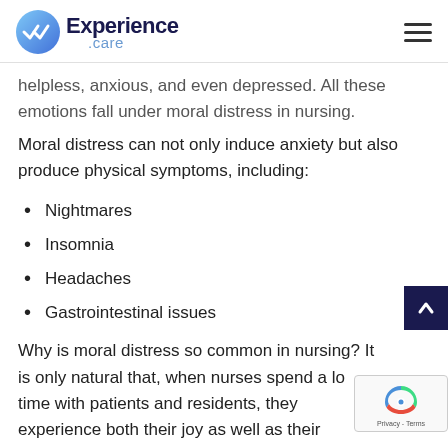Experience.care
helpless, anxious, and even depressed. All these emotions fall under moral distress in nursing.
Moral distress can not only induce anxiety but also produce physical symptoms, including:
Nightmares
Insomnia
Headaches
Gastrointestinal issues
Why is moral distress so common in nursing? It is only natural that, when nurses spend a lo time with patients and residents, they experience both their joy as well as their